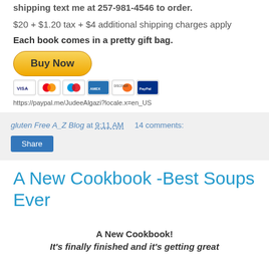shipping text me at 257-981-4546 to order.
$20 + $1.20 tax + $4 additional shipping charges apply
Each book comes in a pretty gift bag.
[Figure (other): PayPal Buy Now button with credit card icons (Visa, Mastercard, Maestro, American Express, Discover, PayPal) and a PayPal.me link]
https://paypal.me/JudeeAlgazi?locale.x=en_US
gluten Free A_Z Blog at 9:11 AM    14 comments:
Share
A New Cookbook -Best Soups Ever
A New Cookbook!
It's finally finished and it's getting great